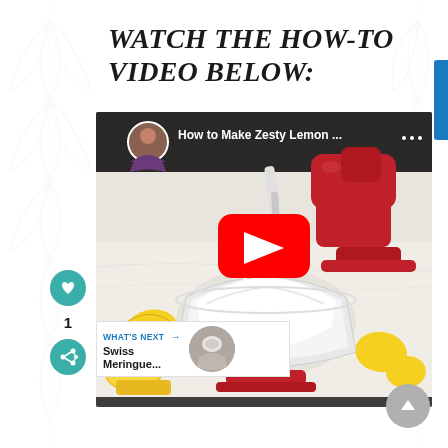WATCH THE HOW-TO VIDEO BELOW:
[Figure (screenshot): YouTube video embed showing 'How to Make Zesty Lemon ...' with a red KitchenAid stand mixer whipping white cream in a glass bowl surrounded by lemons on a white marble surface. A YouTube play button is visible in the center. A 'WHAT'S NEXT' overlay shows 'Swiss Meringue...' at the bottom left.]